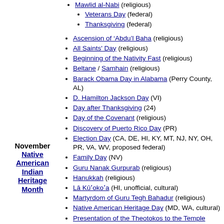Mawlid al-Nabi (religious)
Veterans Day (federal)
Thanksgiving (federal)
Ascension of ‘Abdu’l Baha (religious)
All Saints' Day (religious)
Beginning of the Nativity Fast (religious)
Beltane / Samhain (religious)
Barack Obama Day in Alabama (Perry County, AL)
D. Hamilton Jackson Day (VI)
Day after Thanksgiving (24)
Day of the Covenant (religious)
Discovery of Puerto Rico Day (PR)
Election Day (CA, DE, HI, KY, MT, NJ, NY, OH, PR, VA, WV, proposed federal)
Family Day (NV)
Guru Nanak Gurpurab (religious)
Hanukkah (religious)
Lā Kūʼokoʻa (HI, unofficial, cultural)
Martyrdom of Guru Tegh Bahadur (religious)
Native American Heritage Day (MD, WA, cultural)
Presentation of the Theotokos to the Temple
November Native American Indian Heritage Month